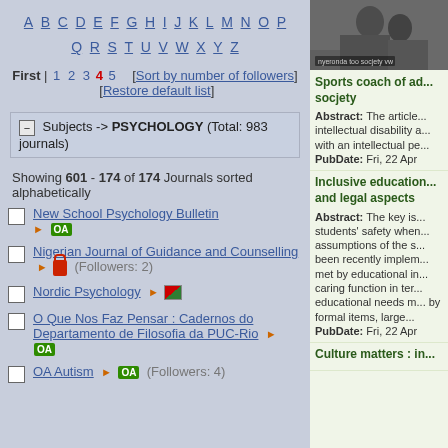A B C D E F G H I J K L M N O P Q R S T U V W X Y Z
First | 1 2 3 4 5 [Sort by number of followers] [Restore default list]
Subjects -> PSYCHOLOGY (Total: 983 journals)
Showing 601 - 174 of 174 Journals sorted alphabetically
New School Psychology Bulletin [OA]
Nigerian Journal of Guidance and Counselling [lock] (Followers: 2)
Nordic Psychology [flag]
O Que Nos Faz Pensar : Cadernos do Departamento de Filosofia da PUC-Rio [OA]
OA Autism [OA] (Followers: 4)
[Figure (photo): Black and white historical photo of two people, possibly children, in early 20th century setting]
Sports coach of ad... socjety
Abstract: The article... intellectual disability a... with an intellectual pe... PubDate: Fri, 22 Apr
Inclusive education... and legal aspects
Abstract: The key is... students' safety when... assumptions of the s... been recently implem... met by educational in... caring function in ter... educational needs m... by formal items, large... PubDate: Fri, 22 Apr
Culture matters : in...